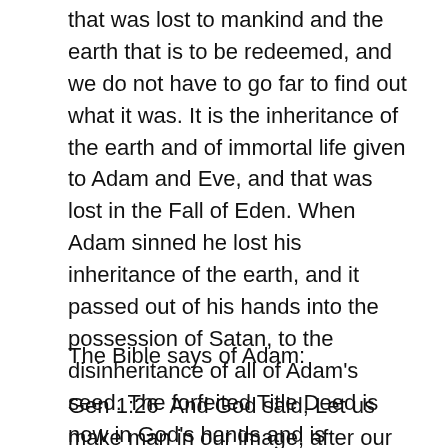that was lost to mankind and the earth that is to be redeemed, and we do not have to go far to find out what it was. It is the inheritance of the earth and of immortal life given to Adam and Eve, and that was lost in the Fall of Eden. When Adam sinned he lost his inheritance of the earth, and it passed out of his hands into the possession of Satan, to the disinheritance of all of Adam's seed. The forfeited Title Deed is now in God's hands and is awaiting redemption. Its redemption means the legal repossession of all that Adam lost by the Fall.
The Bible says of Adam:
Gen 1:26  And God said, Let us make man in our image, after our likeness: and [let them have dominion over the